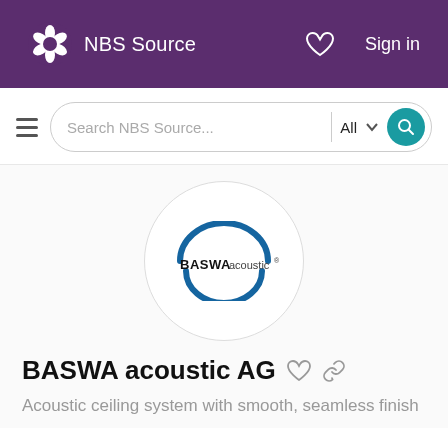NBS Source
[Figure (logo): BASWA acoustic AG company logo inside a light grey circle — blue arc above and below the text 'BASWA acoustic' with registered trademark symbol]
BASWA acoustic AG
Acoustic ceiling system with smooth, seamless finish